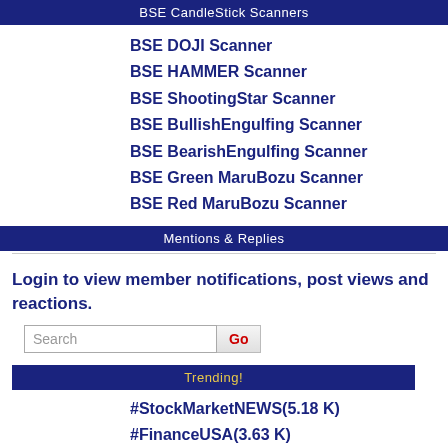BSE CandleStick Scanners
BSE DOJI Scanner
BSE HAMMER Scanner
BSE ShootingStar Scanner
BSE BullishEngulfing Scanner
BSE BearishEngulfing Scanner
BSE Green MaruBozu Scanner
BSE Red MaruBozu Scanner
Mentions & Replies
Login to view member notifications, post views and reactions.
Trending!
#StockMarketNEWS(5.18 K)
#FinanceUSA(3.63 K)
#FinanceIndia(1.55 K)
#Business(546)